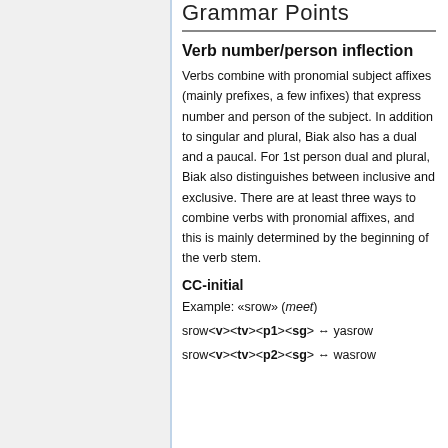Grammar Points
Verb number/person inflection
Verbs combine with pronomial subject affixes (mainly prefixes, a few infixes) that express number and person of the subject. In addition to singular and plural, Biak also has a dual and a paucal. For 1st person dual and plural, Biak also distinguishes between inclusive and exclusive. There are at least three ways to combine verbs with pronomial affixes, and this is mainly determined by the beginning of the verb stem.
CC-initial
Example: «srow» (meet)
srow<v><tv><p1><sg> ↔ yasrow
srow<v><tv><p2><sg> ↔ wasrow